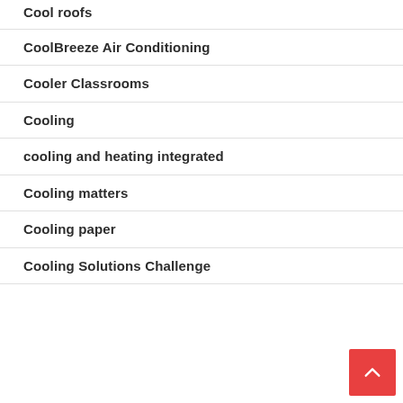Cool roofs
CoolBreeze Air Conditioning
Cooler Classrooms
Cooling
cooling and heating integrated
Cooling matters
Cooling paper
Cooling Solutions Challenge